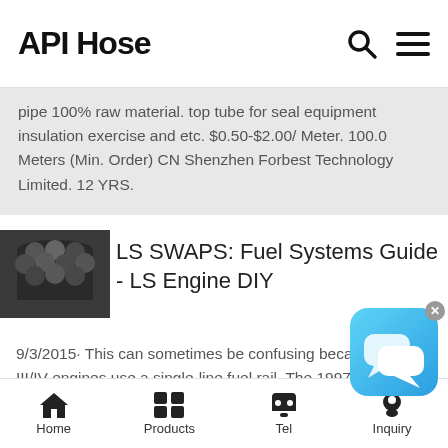API Hose
pipe 100% raw material. top tube for seal equipment insulation exercise and etc. $0.50-$2.00/ Meter. 100.0 Meters (Min. Order) CN Shenzhen Forbest Technology Limited. 12 YRS.
[Figure (photo): Thumbnail image of dark metal/carbon fiber pipes bundled together]
LS SWAPS: Fuel Systems Guide - LS Engine DIY
9/3/2015· This can sometimes be confusing because Gen III/IV engines use a single-line fuel rail. The 1997–1998 Corvettes and 1998–2002 F-Body LS1s used a dual-line fuel rail. In 1999, the Corvette LS1 went to a single-line rail, using a filter regulator near the fuel tank and running a short
[Figure (screenshot): Chat/messaging widget with blue gradient background and speech bubble icons]
Home   Products   Tel   Inquiry